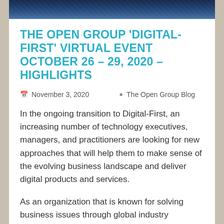[Figure (photo): City skyline at night with digital overlay, dark blue tones]
THE OPEN GROUP 'DIGITAL-FIRST' VIRTUAL EVENT OCTOBER 26 – 29, 2020 – HIGHLIGHTS
November 3, 2020   The Open Group Blog
In the ongoing transition to Digital-First, an increasing number of technology executives, managers, and practitioners are looking for new approaches that will help them to make sense of the evolving business landscape and deliver digital products and services.
As an organization that is known for solving business issues through global industry collaboration, The Open Group hosted its third